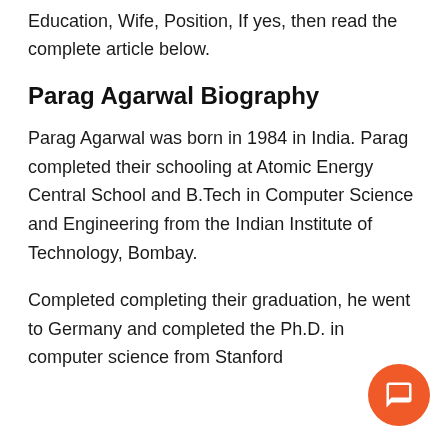Education, Wife, Position, If yes, then read the complete article below.
Parag Agarwal Biography
Parag Agarwal was born in 1984 in India. Parag completed their schooling at Atomic Energy Central School and B.Tech in Computer Science and Engineering from the Indian Institute of Technology, Bombay.
Completed completing their graduation, he went to Germany and completed the Ph.D. in computer science from Stanford